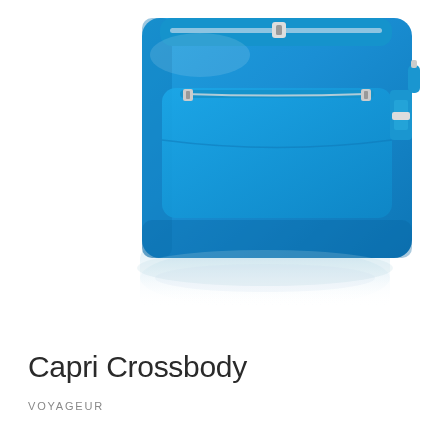[Figure (photo): A bright blue nylon Capri Crossbody bag with silver zippers and a strap anchor on the right side, photographed on a white background with a soft reflection beneath it.]
Capri Crossbody
VOYAGEUR